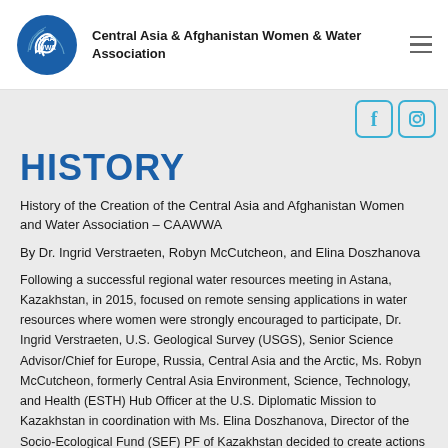Central Asia & Afghanistan Women & Water Association
HISTORY
History of the Creation of the Central Asia and Afghanistan Women and Water Association – CAAWWA
By Dr. Ingrid Verstraeten, Robyn McCutcheon, and Elina Doszhanova
Following a successful regional water resources meeting in Astana, Kazakhstan, in 2015, focused on remote sensing applications in water resources where women were strongly encouraged to participate, Dr. Ingrid Verstraeten, U.S. Geological Survey (USGS), Senior Science Advisor/Chief for Europe, Russia, Central Asia and the Arctic, Ms. Robyn McCutcheon, formerly Central Asia Environment, Science, Technology, and Health (ESTH) Hub Officer at the U.S. Diplomatic Mission to Kazakhstan in coordination with Ms. Elina Doszhanova, Director of the Socio-Ecological Fund (SEF) PF of Kazakhstan decided to create actions in order to empower women in Central